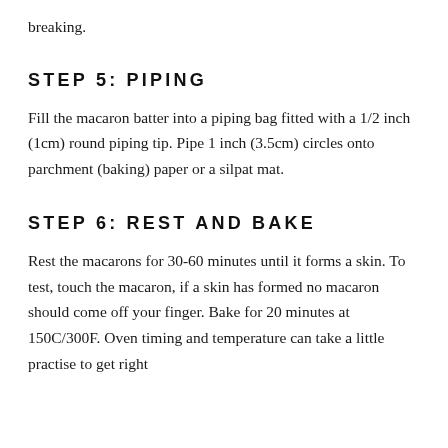breaking.
STEP 5: PIPING
Fill the macaron batter into a piping bag fitted with a 1/2 inch (1cm) round piping tip. Pipe 1 inch (3.5cm) circles onto parchment (baking) paper or a silpat mat.
STEP 6: REST AND BAKE
Rest the macarons for 30-60 minutes until it forms a skin. To test, touch the macaron, if a skin has formed no macaron should come off your finger. Bake for 20 minutes at 150C/300F. Oven timing and temperature can take a little practise to get right and sometimes you may find you need to adjust.